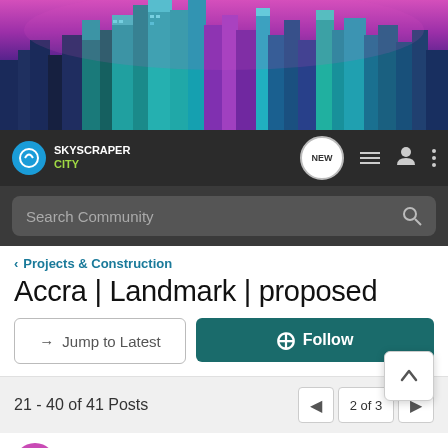[Figure (illustration): SkyscraperCity website screenshot showing a neon purple city skyline banner at the top, navigation bar with logo, search bar, thread title 'Accra | Landmark | proposed', Jump to Latest and Follow buttons, pagination showing 21-40 of 41 Posts, 2 of 3 pages, and user YawAnsongJnr listed as Registered.]
SKYSCRAPER CITY
Search Community
< Projects & Construction
Accra | Landmark | proposed
→ Jump to Latest
+ Follow
21 - 40 of 41 Posts
2 of 3
YawAnsongJnr · Registered